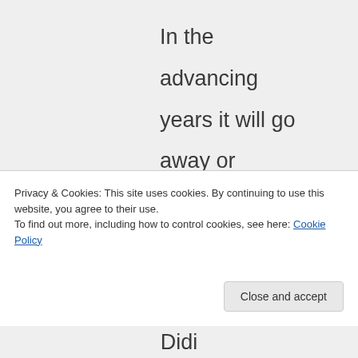In the advancing years it will go away or nearly go away.

May God bless you and may you overcome
Privacy & Cookies: This site uses cookies. By continuing to use this website, you agree to their use.
To find out more, including how to control cookies, see here: Cookie Policy
Close and accept
Didi